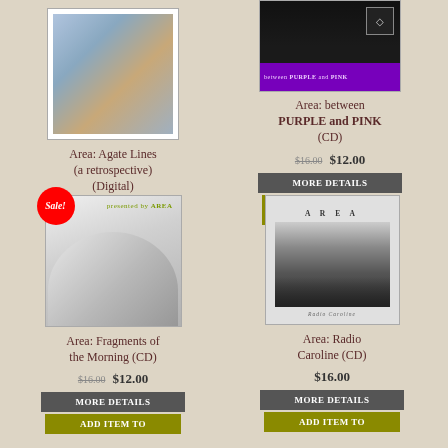[Figure (photo): Album cover for Area: Agate Lines (a retrospective) - colorful artistic image]
Area: Agate Lines (a retrospective) (Digital)
[Figure (photo): Album cover for Area: between PURPLE and PINK (CD) - dark cover with purple bar]
Area: between PURPLE and PINK (CD)
$16.00 $12.00
MORE DETAILS
ADD ITEM TO CART
[Figure (photo): Album cover for Area: Fragments of the Morning (CD) - grey abstract cover with Sale badge]
Area: Fragments of the Morning (CD)
$16.00 $12.00
MORE DETAILS
ADD ITEM TO
[Figure (photo): Album cover for Area: Radio Caroline (CD) - black and white photo of standing stones]
Area: Radio Caroline (CD)
$16.00
MORE DETAILS
ADD ITEM TO